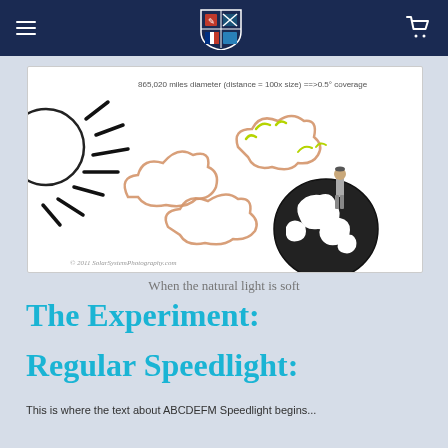Navigation bar with hamburger menu, shield logo, and cart icon
[Figure (illustration): Illustration showing the sun on the left with dashed rays, cloud shapes in tan/orange outline, a person standing on a globe (Earth), with text annotation: '865,020 miles diameter (distance = 100x size) ==>0.5° coverage']
When the natural light is soft
The Experiment:
Regular Speedlight:
This is where the text about ABCDEFM Speedlight begins...